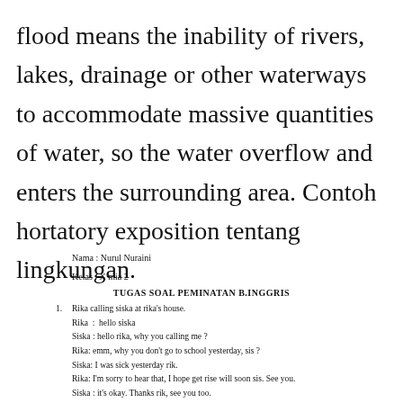flood means the inability of rivers, lakes, drainage or other waterways to accommodate massive quantities of water, so the water overflow and enters the surrounding area. Contoh hortatory exposition tentang lingkungan.
Nama : Nurul Nuraini
Kelas : X mia 2
TUGAS SOAL PEMINATAN B.INGGRIS
1. Rika calling siska at rika's house.
Rika : hello siska
Siska : hello rika, why you calling me?
Rika: emm, why you don't go to school yesterday, sis?
Siska: I was sick yesterday rik.
Rika: I'm sorry to hear that, I hope get rise will soon sis. See you.
Siska : it's okay. Thanks rik, see you too.